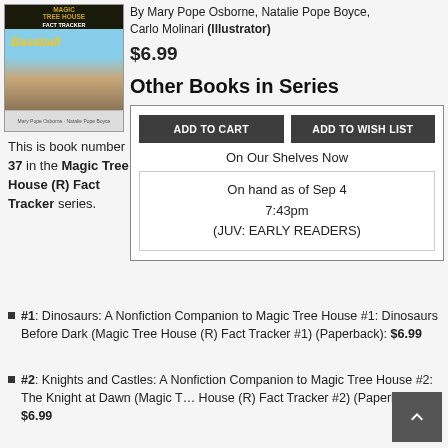[Figure (illustration): Book cover for Magic Tree House Fact Tracker: Baseball]
By Mary Pope Osborne, Natalie Pope Boyce, Carlo Molinari (Illustrator)
$6.99
Other Books in Series
ADD TO CART
ADD TO WISH LIST
On Our Shelves Now
On hand as of Sep 4 7:43pm (JUV: EARLY READERS)
This is book number 37 in the Magic Tree House (R) Fact Tracker series.
#1: Dinosaurs: A Nonfiction Companion to Magic Tree House #1: Dinosaurs Before Dark (Magic Tree House (R) Fact Tracker #1) (Paperback): $6.99
#2: Knights and Castles: A Nonfiction Companion to Magic Tree House #2: The Knight at Dawn (Magic Tree House (R) Fact Tracker #2) (Paperback): $6.99